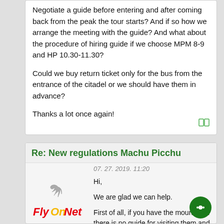Negotiate a guide before entering and after coming back from the peak the tour starts? And if so how we arrange the meeting with the guide? And what about the procedure of hiring guide if we choose MPM 8-9 and HP 10.30-11.30?

Could we buy return ticket only for the bus from the entrance of the citadel or we should have them in advance?

Thanks a lot once again!
Re: New regulations Machu Picchu
07. 27. 2019. 11:20
[Figure (logo): FlyOnNet logo with bird/dove symbol above stylized text]
Messages: 819
Hi,

We are glad we can help.

First of all, if you have the mountain... there is no guide for visiting them and